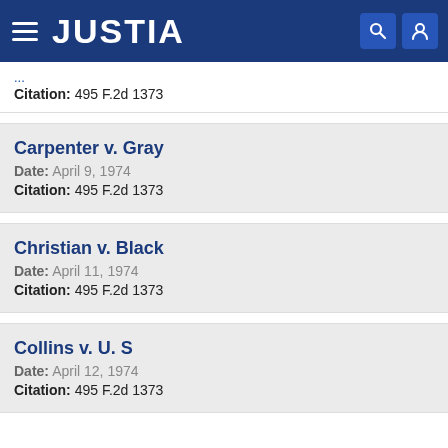JUSTIA
Citation: 495 F.2d 1373
Carpenter v. Gray
Date: April 9, 1974
Citation: 495 F.2d 1373
Christian v. Black
Date: April 11, 1974
Citation: 495 F.2d 1373
Collins v. U. S
Date: April 12, 1974
Citation: 495 F.2d 1373